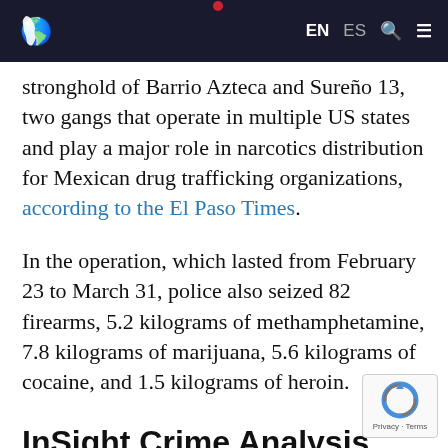EN ES
stronghold of Barrio Azteca and Sureño 13, two gangs that operate in multiple US states and play a major role in narcotics distribution for Mexican drug trafficking organizations, according to the El Paso Times.
In the operation, which lasted from February 23 to March 31, police also seized 82 firearms, 5.2 kilograms of methamphetamine, 7.8 kilograms of marijuana, 5.6 kilograms of cocaine, and 1.5 kilograms of heroin.
InSight Crime Analysis